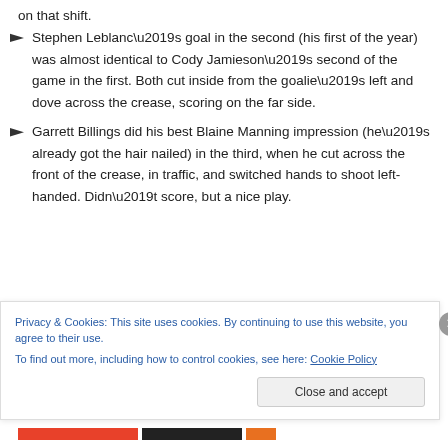on that shift.
Stephen Leblanc’s goal in the second (his first of the year) was almost identical to Cody Jamieson’s second of the game in the first. Both cut inside from the goalie’s left and dove across the crease, scoring on the far side.
Garrett Billings did his best Blaine Manning impression (he’s already got the hair nailed) in the third, when he cut across the front of the crease, in traffic, and switched hands to shoot left-handed. Didn’t score, but a nice play.
Privacy & Cookies: This site uses cookies. By continuing to use this website, you agree to their use.
To find out more, including how to control cookies, see here: Cookie Policy
Close and accept